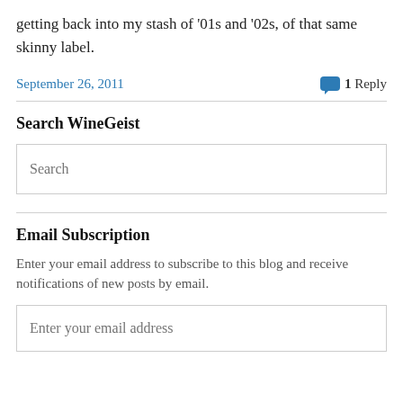getting back into my stash of '01s and '02s, of that same skinny label.
September 26, 2011   1 Reply
Search WineGeist
Search
Email Subscription
Enter your email address to subscribe to this blog and receive notifications of new posts by email.
Enter your email address